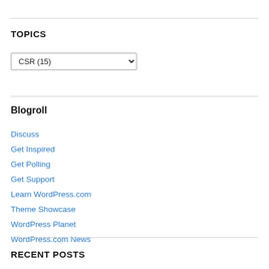TOPICS
CSR  (15)
Blogroll
Discuss
Get Inspired
Get Polling
Get Support
Learn WordPress.com
Theme Showcase
WordPress Planet
WordPress.com News
RECENT POSTS